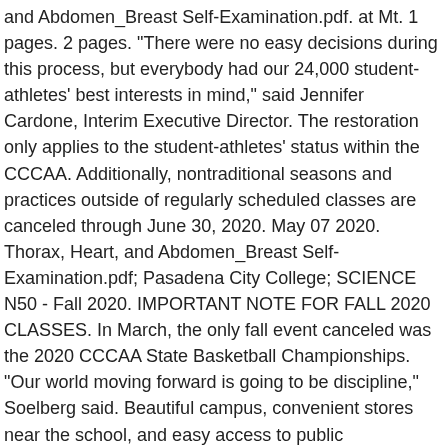and Abdomen_Breast Self-Examination.pdf. at Mt. 1 pages. 2 pages. "There were no easy decisions during this process, but everybody had our 24,000 student-athletes' best interests in mind," said Jennifer Cardone, Interim Executive Director. The restoration only applies to the student-athletes' status within the CCCAA. Additionally, nontraditional seasons and practices outside of regularly scheduled classes are canceled through June 30, 2020. May 07 2020. Thorax, Heart, and Abdomen_Breast Self-Examination.pdf; Pasadena City College; SCIENCE N50 - Fall 2020. IMPORTANT NOTE FOR FALL 2020 CLASSES. In March, the only fall event canceled was the 2020 CCCAA State Basketball Championships. "Our world moving forward is going to be discipline," Soelberg said. Beautiful campus, convenient stores near the school, and easy access to public transportation are some of the perks of this school. Download the iOS; Download the Android app. Every class will have activities and assignments in Canvas. First Day of Classes – Summer 2020 ( Academic Calendar) Fri Jul 3. All